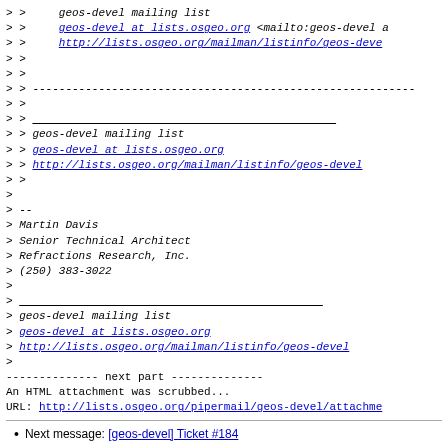> >    geos-devel mailing list
> >    geos-devel at lists.osgeo.org <mailto:geos-devel a
> >    http://lists.osgeo.org/mailman/listinfo/geos-deve
> >
> >
> > -----------------------------------------------------------
> >
> > ___________________________________________
> > geos-devel mailing list
> > geos-devel at lists.osgeo.org
> > http://lists.osgeo.org/mailman/listinfo/geos-devel
> >
>
> --
> Martin Davis
> Senior Technical Architect
> Refractions Research, Inc.
> (250) 383-3022
>
> ___________________________________________
> geos-devel mailing list
> geos-devel at lists.osgeo.org
> http://lists.osgeo.org/mailman/listinfo/geos-devel
>
-------------- next part --------------
An HTML attachment was scrubbed...
URL: http://lists.osgeo.org/pipermail/geos-devel/attachme
Next message: [geos-devel] Ticket #184